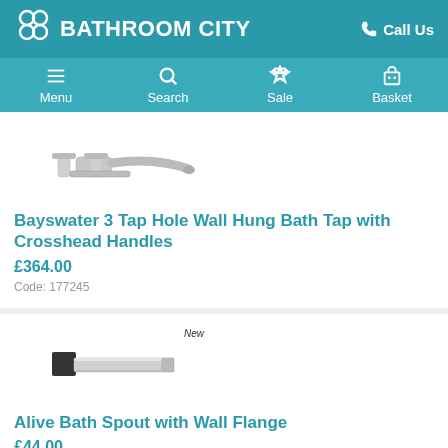BATHROOM CITY — Call Us
[Figure (screenshot): Bathroom tap product image — wall hung bath tap with crosshead handles]
Bayswater 3 Tap Hole Wall Hung Bath Tap with Crosshead Handles
£364.00
Code: 177245
[Figure (screenshot): Bath spout product image — modern rectangular bath spout with wall flange, labeled New]
Alive Bath Spout with Wall Flange
£44.00
Code: 175824